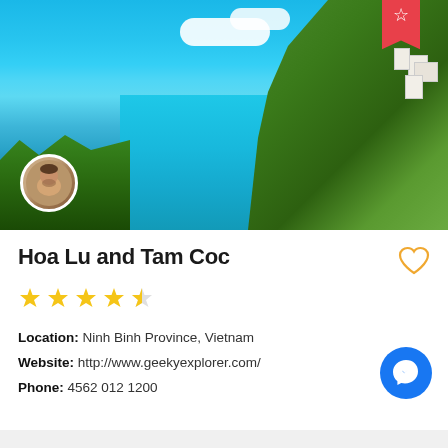[Figure (photo): Scenic coastal view with turquoise blue sea, dramatic green cliffs with white buildings, blue sky with white clouds. A circular profile photo of a man overlaid at bottom-left. A red bookmark ribbon with star icon at top-right corner.]
Hoa Lu and Tam Coc
★★★★☆
Location: Ninh Binh Province, Vietnam
Website: http://www.geekyexplorer.com/
Phone: 4562 012 1200